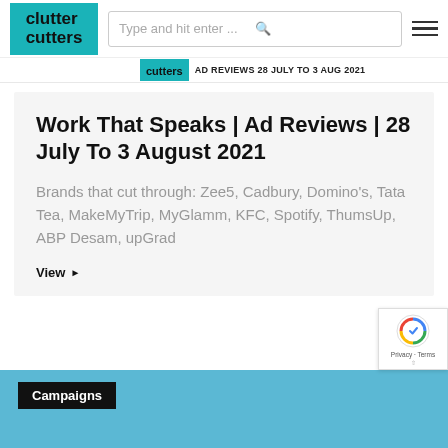clutter cutters — Type and hit enter ...
Work That Speaks | Ad Reviews | 28 July To 3 August 2021
Brands that cut through: Zee5, Cadbury, Domino's, Tata Tea, MakeMyTrip, MyGlamm, KFC, Spotify, ThumsUp, ABP Desam, upGrad
View ▶
Campaigns